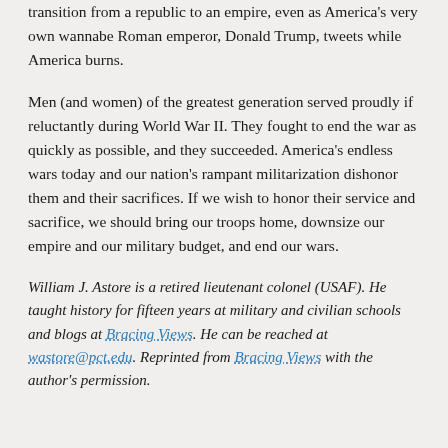transition from a republic to an empire, even as America's very own wannabe Roman emperor, Donald Trump, tweets while America burns.
Men (and women) of the greatest generation served proudly if reluctantly during World War II. They fought to end the war as quickly as possible, and they succeeded. America's endless wars today and our nation's rampant militarization dishonor them and their sacrifices. If we wish to honor their service and sacrifice, we should bring our troops home, downsize our empire and our military budget, and end our wars.
William J. Astore is a retired lieutenant colonel (USAF). He taught history for fifteen years at military and civilian schools and blogs at Bracing Views. He can be reached at wastore@pct.edu. Reprinted from Bracing Views with the author's permission.